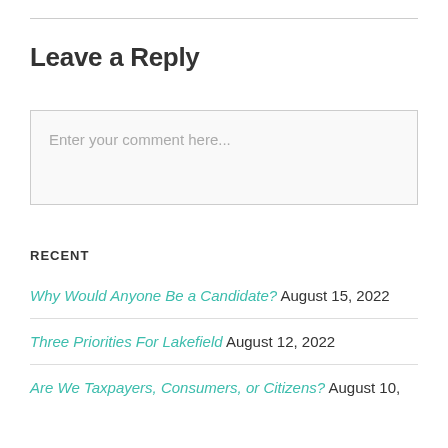Leave a Reply
Enter your comment here...
RECENT
Why Would Anyone Be a Candidate? August 15, 2022
Three Priorities For Lakefield August 12, 2022
Are We Taxpayers, Consumers, or Citizens? August 10,